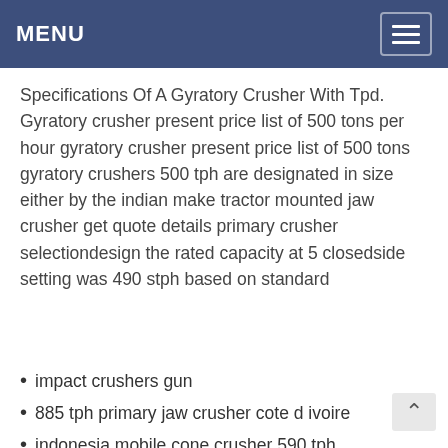MENU
Specifications Of A Gyratory Crusher With Tpd. Gyratory crusher present price list of 500 tons per hour gyratory crusher present price list of 500 tons gyratory crushers 500 tph are designated in size either by the indian make tractor mounted jaw crusher get quote details primary crusher selectiondesign the rated capacity at 5 closedside setting was 490 stph based on standard
impact crushers gun
885 tph primary jaw crusher cote d ivoire
indonesia mobile cone crusher 590 tph
miping crusher 340 tph losotho